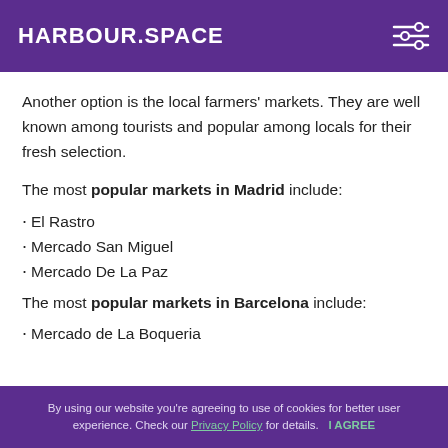HARBOUR.SPACE
Another option is the local farmers' markets. They are well known among tourists and popular among locals for their fresh selection.
The most popular markets in Madrid include:
El Rastro
Mercado San Miguel
Mercado De La Paz
The most popular markets in Barcelona include:
Mercado de La Boqueria
By using our website you're agreeing to use of cookies for better user experience. Check our Privacy Policy for details.   I AGREE